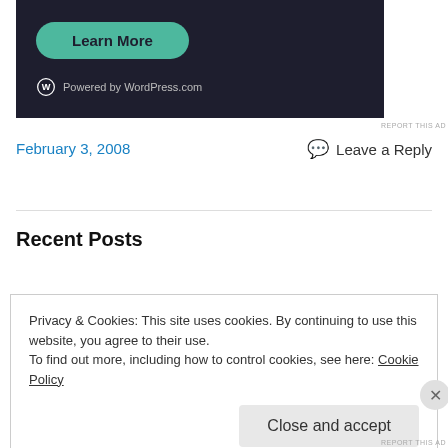[Figure (screenshot): Dark-themed ad banner showing a teal 'Learn More' button and 'Powered by WordPress.com' text with WordPress logo]
REPORT THIS AD
February 3, 2008
Leave a Reply
Recent Posts
More on the need for climate urgency
Privacy & Cookies: This site uses cookies. By continuing to use this website, you agree to their use.
To find out more, including how to control cookies, see here: Cookie Policy
Close and accept